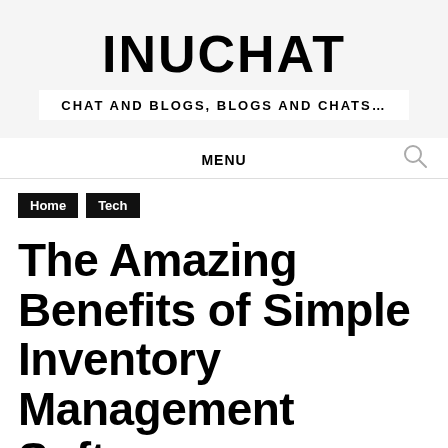INUCHAT
CHAT AND BLOGS, BLOGS AND CHATS…
MENU
Home
Tech
The Amazing Benefits of Simple Inventory Management Software